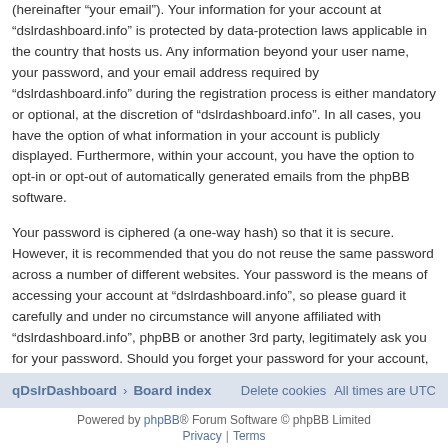(hereinafter “your email”). Your information for your account at “dslrdashboard.info” is protected by data-protection laws applicable in the country that hosts us. Any information beyond your user name, your password, and your email address required by “dslrdashboard.info” during the registration process is either mandatory or optional, at the discretion of “dslrdashboard.info”. In all cases, you have the option of what information in your account is publicly displayed. Furthermore, within your account, you have the option to opt-in or opt-out of automatically generated emails from the phpBB software.
Your password is ciphered (a one-way hash) so that it is secure. However, it is recommended that you do not reuse the same password across a number of different websites. Your password is the means of accessing your account at “dslrdashboard.info”, so please guard it carefully and under no circumstance will anyone affiliated with “dslrdashboard.info”, phpBB or another 3rd party, legitimately ask you for your password. Should you forget your password for your account, you can use the “I forgot my password” feature provided by the phpBB software. This process will ask you to submit your user name and your email, then the phpBB software will generate a new password to reclaim your account.
qDslrDashboard ¹ Board index  Delete cookies  All times are UTC
Powered by phpBB® Forum Software © phpBB Limited | Privacy | Terms